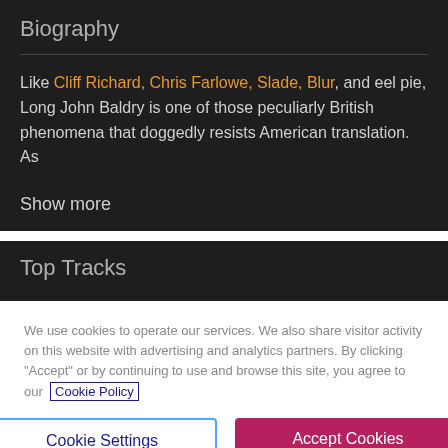Biography
Like Cliff Richard, Chris Farlowe, Slade, Blur, and eel pie, Long John Baldry is one of those peculiarly British phenomena that doggedly resists American translation. As
Show more
Top Tracks
We use cookies to operate our services. We also share visitor activity on this website with advertising and analytics partners. By clicking “Accept” or by continuing to use and browse this site, you agree to our Cookie Policy
Cookie Settings
Accept Cookies